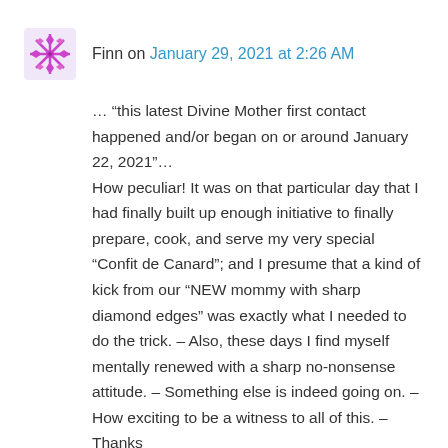Finn on January 29, 2021 at 2:26 AM
… “this latest Divine Mother first contact happened and/or began on or around January 22, 2021”…
How peculiar! It was on that particular day that I had finally built up enough initiative to finally prepare, cook, and serve my very special “Confit de Canard”; and I presume that a kind of kick from our “NEW mommy with sharp diamond edges” was exactly what I needed to do the trick. – Also, these days I find myself mentally renewed with a sharp no-nonsense attitude. – Something else is indeed going on. – How exciting to be a witness to all of this. – Thanks